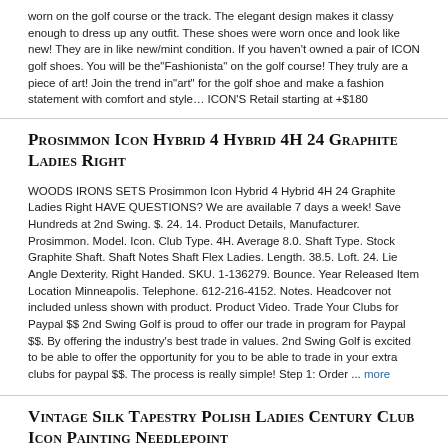worn on the golf course or the track. The elegant design makes it classy enough to dress up any outfit. These shoes were worn once and look like new! They are in like new/mint condition. If you haven't owned a pair of ICON golf shoes. You will be the"Fashionista" on the golf course! They truly are a piece of art! Join the trend in"art" for the golf shoe and make a fashion statement with comfort and style… ICON'S Retail starting at +$180
Prosimmon Icon Hybrid 4 Hybrid 4H 24 Graphite Ladies Right
WOODS IRONS SETS Prosimmon Icon Hybrid 4 Hybrid 4H 24 Graphite Ladies Right HAVE QUESTIONS? We are available 7 days a week! Save Hundreds at 2nd Swing. $. 24. 14. Product Details, Manufacturer. Prosimmon. Model. Icon. Club Type. 4H. Average 8.0. Shaft Type. Stock Graphite Shaft. Shaft Notes Shaft Flex Ladies. Length. 38.5. Loft. 24. Lie Angle Dexterity. Right Handed. SKU. 1-136279. Bounce. Year Released Item Location Minneapolis. Telephone. 612-216-4152. Notes. Headcover not included unless shown with product. Product Video. Trade Your Clubs for Paypal $$ 2nd Swing Golf is proud to offer our trade in program for Paypal $$. By offering the industry's best trade in values. 2nd Swing Golf is excited to be able to offer the opportunity for you to be able to trade in your extra clubs for paypal $$. The process is really simple! Step 1: Order ... more
Vintage Silk Tapestry Polish Ladies Century Club Icon Painting Needlepoint
up for consideration is a fine silk tapestry/ banner for the Polish Ladies